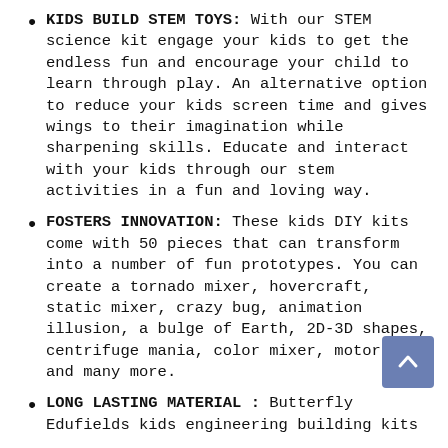KIDS BUILD STEM TOYS: With our STEM science kit engage your kids to get the endless fun and encourage your child to learn through play. An alternative option to reduce your kids screen time and gives wings to their imagination while sharpening skills. Educate and interact with your kids through our stem activities in a fun and loving way.
FOSTERS INNOVATION: These kids DIY kits come with 50 pieces that can transform into a number of fun prototypes. You can create a tornado mixer, hovercraft, static mixer, crazy bug, animation illusion, a bulge of Earth, 2D-3D shapes, centrifuge mania, color mixer, motorboat and many more.
LONG LASTING MATERIAL : Butterfly Edufields kids engineering building kits